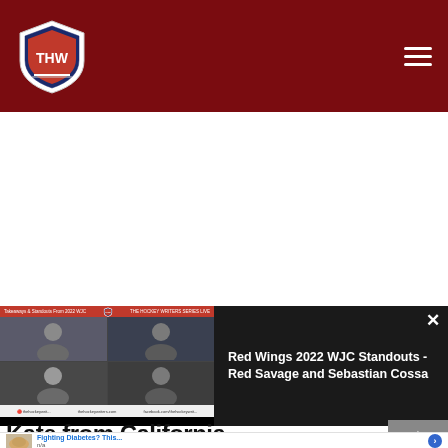[Figure (screenshot): THW (The Hockey Writers) website header with dark red background, THW shield logo on left, hamburger menu icon on right]
[Figure (screenshot): White advertisement/blank area in the middle of the page]
[Figure (screenshot): Video popup overlay showing a video thumbnail of four people in a video call grid on the left, and video title 'Red Wings 2022 WJC Standouts - Red Savage and Sebastian Cossa' on dark background on the right, with a close X button]
Kate from California
[Figure (screenshot): Bottom advertisement banner showing food image thumbnail, headline 'Fighting Diabetes? This...', subtext 'n/a', and a blue circular arrow/play button]